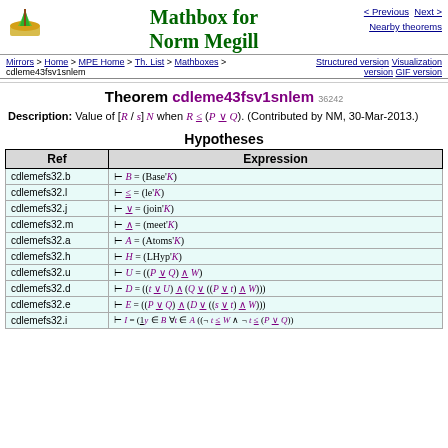Mathbox for Norm Megill
< Previous  Next >  Nearby theorems
Mirrors > Home > MPE Home > Th. List > Mathboxes > cdleme43fsv1snlem  Structured version  Visualization version  GIF version
Theorem cdleme43fsv1snlem 36242
Description: Value of [R / s] N when R ≤ (P ∨ Q). (Contributed by NM, 30-Mar-2013.)
Hypotheses
| Ref | Expression |
| --- | --- |
| cdlemefs32.b | ⊢ B = (Base'K) |
| cdlemefs32.l | ⊢ ≤ = (le'K) |
| cdlemefs32.j | ⊢ ∨ = (join'K) |
| cdlemefs32.m | ⊢ ∧ = (meet'K) |
| cdlemefs32.a | ⊢ A = (Atoms'K) |
| cdlemefs32.h | ⊢ H = (LHyp'K) |
| cdlemefs32.u | ⊢ U = ((P ∨ Q) ∧ W) |
| cdlemefs32.d | ⊢ D = ((t ∨ U) ∧ (Q ∨ ((P ∨ t) ∧ W))) |
| cdlemefs32.e | ⊢ E = ((P ∨ Q) ∧ (D ∨ ((s ∨ t) ∧ W))) |
| cdlemefs32.i | ⊢ I = (1y ∈ B ∀t ∈ A ((¬ t ≤ W ∧ ¬ t ≤ (P ∨ Q)) → E)) |